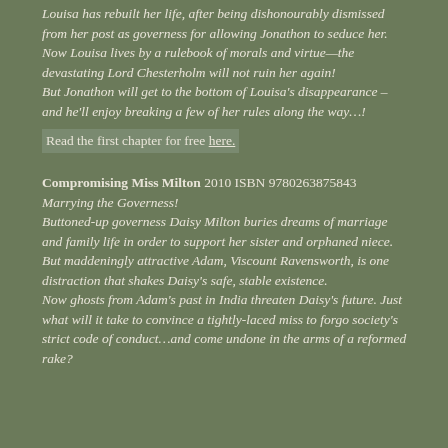Louisa has rebuilt her life, after being dishonourably dismissed from her post as governess for allowing Jonathon to seduce her. Now Louisa lives by a rulebook of morals and virtue—the devastating Lord Chesterholm will not ruin her again! But Jonathon will get to the bottom of Louisa's disappearance – and he'll enjoy breaking a few of her rules along the way…!
Read the first chapter for free here.
Compromising Miss Milton 2010 ISBN 9780263875843
Marrying the Governess!
Buttoned-up governess Daisy Milton buries dreams of marriage and family life in order to support her sister and orphaned niece. But maddeningly attractive Adam, Viscount Ravensworth, is one distraction that shakes Daisy's safe, stable existence. Now ghosts from Adam's past in India threaten Daisy's future. Just what will it take to convince a tightly-laced miss to forgo society's strict code of conduct…and come undone in the arms of a reformed rake?